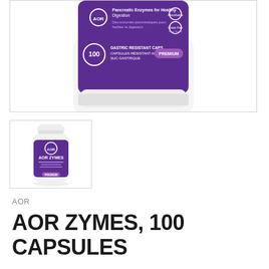[Figure (photo): Close-up top portion of AOR Zymes supplement bottle showing purple label with text: Pancreatic Enzymes for Healthy Digestion, Des enzymes pancréatiques pour faciliter la digestion, Absorbable, Gluten Free/Sans Gluten, 100 Gastric Resistant Caps/Capsules Résistant au Suc Gastrique, PREMIUM badge. White cap visible at bottom.]
[Figure (photo): Thumbnail of full AOR Zymes supplement bottle. White bottle with purple label showing AOR logo, AOR ZYMES text, 100 capsules. Purple and white color scheme.]
AOR
AOR ZYMES, 100 CAPSULES